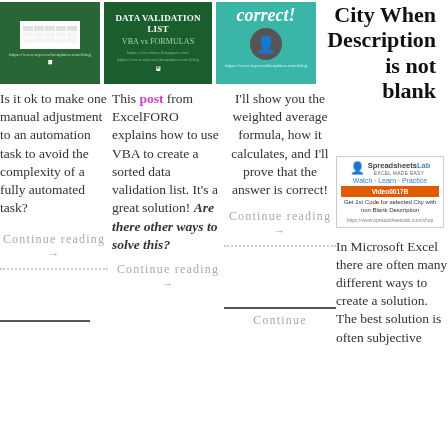[Figure (screenshot): Green thumbnail: DATA VALIDATION LIST, VBA vs FORMULAS with ExcelFORO branding]
[Figure (screenshot): Teal/green thumbnail with 'correct!' text and person icon]
City When Description is not blank
Is it ok to make one manual adjustment to an automation task to avoid the complexity of a fully automated task?
This post from ExcelFORO explains how to use VBA to create a sorted data validation list. It's a great solution! Are there other ways to solve this?
I'll show you the weighted average formula, how it calculates, and I'll prove that the answer is correct!
[Figure (screenshot): SpreadsheetsLab box: Watch Learn Practice, Video0017B, Get 1st Code for selected City with non Blank Description]
In Microsoft Excel there are often many different ways to create a solution. The best solution is often subjective
Continue reading →
Continue reading →
Continue reading →